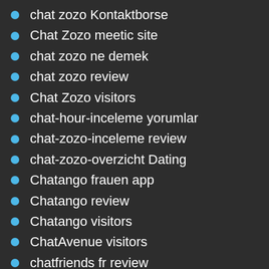chat zozo Kontaktborse
Chat Zozo meetic site
chat zozo ne demek
chat zozo review
Chat Zozo visitors
chat-hour-inceleme yorumlar
chat-zozo-inceleme review
chat-zozo-overzicht Dating
Chatango frauen app
Chatango review
Chatango visitors
ChatAvenue visitors
chatfriends fr review
ChatFriends Service Clients
ChatFriends visitors